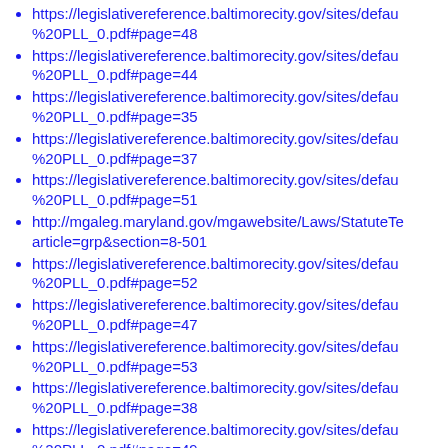https://legislativereference.baltimorecity.gov/sites/defau %20PLL_0.pdf#page=48
https://legislativereference.baltimorecity.gov/sites/defau %20PLL_0.pdf#page=44
https://legislativereference.baltimorecity.gov/sites/defau %20PLL_0.pdf#page=35
https://legislativereference.baltimorecity.gov/sites/defau %20PLL_0.pdf#page=37
https://legislativereference.baltimorecity.gov/sites/defau %20PLL_0.pdf#page=51
http://mgaleg.maryland.gov/mgawebsite/Laws/StatuteTe article=grp&section=8-501
https://legislativereference.baltimorecity.gov/sites/defau %20PLL_0.pdf#page=52
https://legislativereference.baltimorecity.gov/sites/defau %20PLL_0.pdf#page=47
https://legislativereference.baltimorecity.gov/sites/defau %20PLL_0.pdf#page=53
https://legislativereference.baltimorecity.gov/sites/defau %20PLL_0.pdf#page=38
https://legislativereference.baltimorecity.gov/sites/defau %20PLL_0.pdf#page=49
https://legislativereference.baltimorecity.gov/sites/defau %20Bldg
%20Fire%20(rev10-20-21).pdf#page=106
%20Fire%20(rev10-20-21).pdf#page=107